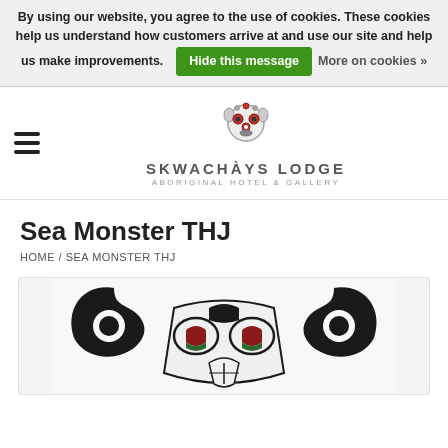By using our website, you agree to the use of cookies. These cookies help us understand how customers arrive at and use our site and help us make improvements. Hide this message  More on cookies »
[Figure (logo): Skwachàys Lodge Aboriginal Hotel & Gallery logo — decorative indigenous mask graphic above the lodge name text]
Sea Monster THJ
HOME / SEA MONSTER THJ
[Figure (illustration): Partial view of indigenous art depicting a Sea Monster — black, dark red, and green formline design on white background showing the top portion of the creature]